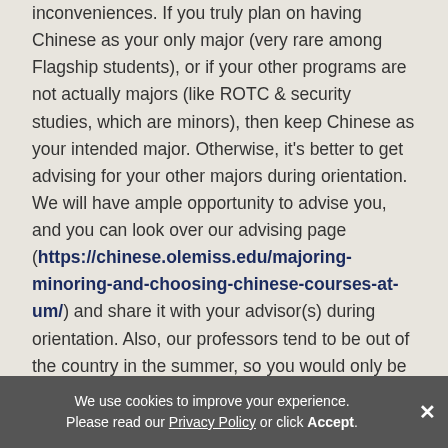inconveniences. If you truly plan on having Chinese as your only major (very rare among Flagship students), or if your other programs are not actually majors (like ROTC & security studies, which are minors), then keep Chinese as your intended major. Otherwise, it's better to get advising for your other majors during orientation. We will have ample opportunity to advise you, and you can look over our advising page (https://chinese.olemiss.edu/majoring-minoring-and-choosing-chinese-courses-at-um/) and share it with your advisor(s) during orientation. Also, our professors tend to be out of the country in the summer, so you would only be able to get general advising from a non-Chinese
We use cookies to improve your experience. Please read our Privacy Policy or click Accept.